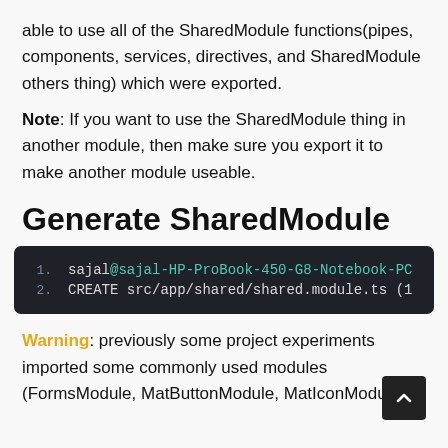able to use all of the SharedModule functions(pipes, components, services, directives, and SharedModule others thing) which were exported.
Note: If you want to use the SharedModule thing in another module, then make sure you export it to make another module useable.
Generate SharedModule
[Figure (screenshot): Terminal code block showing two lines: 1. sajal@sajal-HP-ProBook-450-G8-Notebook-PC (truncated) 2. CREATE src/app/shared/shared.module.ts (1... truncated)]
Warning: previously some project experiments imported some commonly used modules (FormsModule, MatButtonModule, MatIconModule,